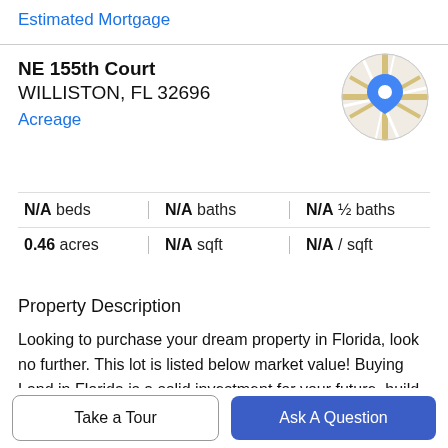Estimated Mortgage
NE 155th Court
WILLISTON, FL 32696
Acreage
[Figure (map): Circular map thumbnail showing street map with a blue location pin marker]
N/A beds | N/A baths | N/A ½ baths
0.46 acres | N/A sqft | N/A / sqft
Property Description
Looking to purchase your dream property in Florida, look no further. This lot is listed below market value! Buying Land in Florida is a solid investment for your future, build your dream home, vacation home, rental investment or let
the land build value as a great long term investment in
Take a Tour
Ask A Question